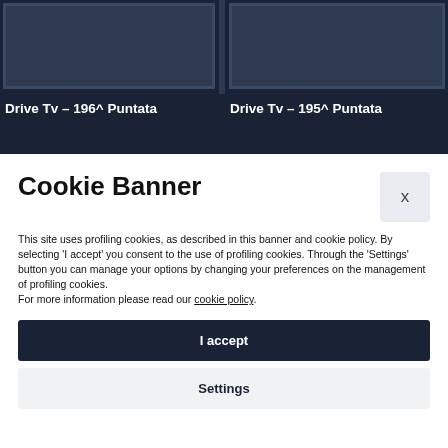[Figure (screenshot): Two dark-themed video thumbnail cards side by side at top of page]
Drive Tv – 196^ Puntata
Drive Tv – 195^ Puntata
Cookie Banner
This site uses profiling cookies, as described in this banner and cookie policy. By selecting 'I accept' you consent to the use of profiling cookies. Through the 'Settings' button you can manage your options by changing your preferences on the management of profiling cookies.
For more information please read our cookie policy.
I accept
Settings